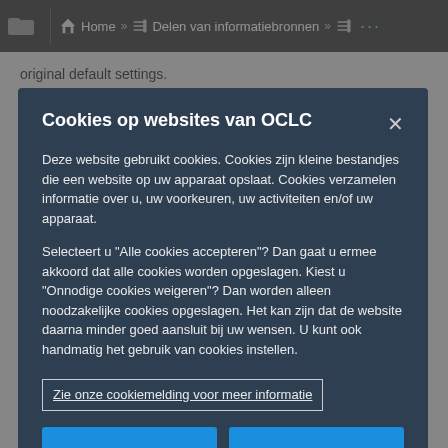Home » Delen van informatiebronnen »
original default settings.
From the Bibliographic Records tab:
1. For Search Scope(s) for Bibliographic Records:
[Figure (screenshot): Cookie consent modal dialog on OCLC website with dark blue background. Title: 'Cookies op websites van OCLC'. Body text in Dutch describing cookie usage. Link box: 'Zie onze cookiemelding voor meer informatie'. Two blue buttons at the bottom partially visible.]